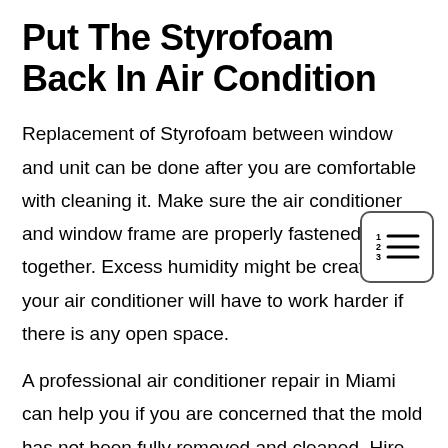Put The Styrofoam Back In Air Condition
Replacement of Styrofoam between window and unit can be done after you are comfortable with cleaning it. Make sure the air conditioner and window frame are properly fastened together. Excess humidity might be created and your air conditioner will have to work harder if there is any open space.
A professional air conditioner repair in Miami can help you if you are concerned that the mold has not been fully removed and cleaned. Hire them, and they’ll take care of the difficult work for you.